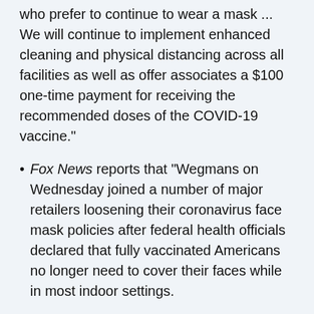who prefer to continue to wear a mask ... We will continue to implement enhanced cleaning and physical distancing across all facilities as well as offer associates a $100 one-time payment for receiving the recommended doses of the COVID-19 vaccine."
Fox News reports that "Wegmans on Wednesday joined a number of major retailers loosening their coronavirus face mask policies after federal health officials declared that fully vaccinated Americans no longer need to cover their faces while in most indoor settings.
"Fully vaccinated customers – which is anyone who is two weeks past their last required vaccine dose —are no longer required to wear a face-covering in any one of Wegman's stores 'except where mandated at the state or local level,' a Wegmans spokesperson said ... Customers